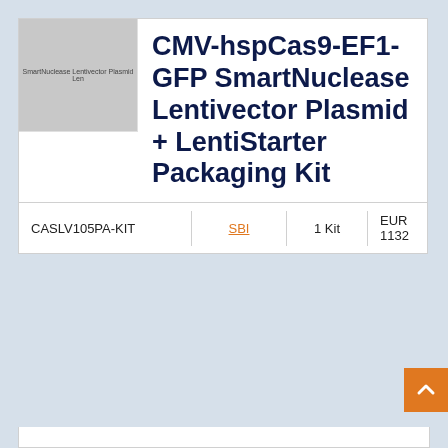[Figure (photo): Product thumbnail image placeholder showing text 'SmartNuclease Lentivector Plasmid Len' on grey background]
CMV-hspCas9-EF1-GFP SmartNuclease Lentivector Plasmid + LentiStarter Packaging Kit
|  |  |  |  |
| --- | --- | --- | --- |
| CASLV105PA-KIT | SBI | 1 Kit | EUR 1132 |